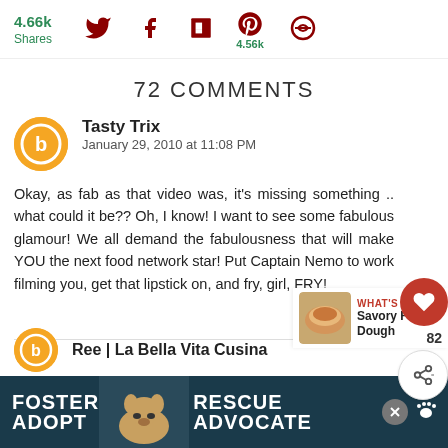4.66k Shares | Social share icons: Twitter, Facebook, Flipboard, Pinterest (4.56k), circular icon
72 COMMENTS
Tasty Trix
January 29, 2010 at 11:08 PM
Okay, as fab as that video was, it's missing something .. what could it be?? Oh, I know! I want to see some fabulous glamour! We all demand the fabulousness that will make YOU the next food network star! Put Captain Nemo to work filming you, get that lipstick on, and fry, girl, FRY!
Ree | La Bella Vita Cucina
[Figure (screenshot): What's Next widget showing Savory Fried Dough with thumbnail image]
[Figure (photo): Foster Adopt Advocate ad banner with dog photo]